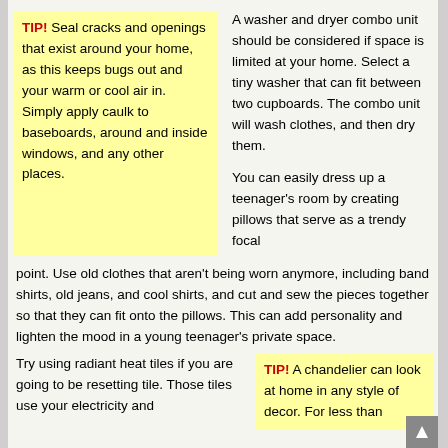TIP! Seal cracks and openings that exist around your home, as this keeps bugs out and your warm or cool air in. Simply apply caulk to baseboards, around and inside windows, and any other places.
A washer and dryer combo unit should be considered if space is limited at your home. Select a tiny washer that can fit between two cupboards. The combo unit will wash clothes, and then dry them.
You can easily dress up a teenager's room by creating pillows that serve as a trendy focal point. Use old clothes that aren't being worn anymore, including band shirts, old jeans, and cool shirts, and cut and sew the pieces together so that they can fit onto the pillows. This can add personality and lighten the mood in a young teenager's private space.
Try using radiant heat tiles if you are going to be resetting tile. Those tiles use your electricity and
TIP! A chandelier can look at home in any style of decor. For less than